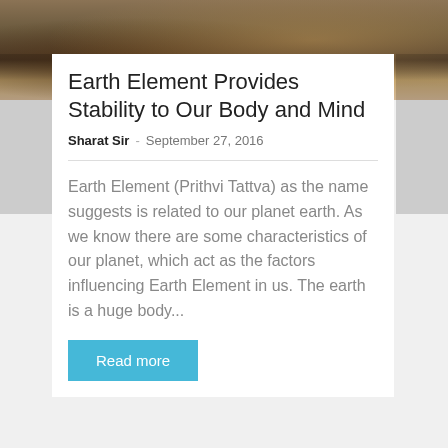[Figure (photo): Dark earthy toned background photo showing textured organic surface, likely soil or rock, with warm brown tones]
Earth Element Provides Stability to Our Body and Mind
Sharat Sir  -  September 27, 2016
Earth Element (Prithvi Tattva) as the name suggests is related to our planet earth. As we know there are some characteristics of our planet, which act as the factors influencing Earth Element in us. The earth is a huge body...
Read more